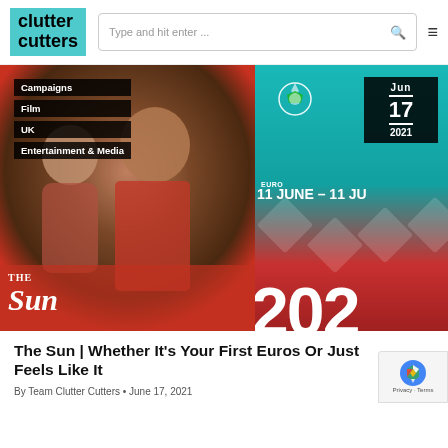clutter cutters — Type and hit enter ...
[Figure (photo): Split image: left side shows man and child from The Sun newspaper advertisement with Campaigns, Film, UK, Entertainment & Media tags; right side shows UEFA Euro 2021 promotional graphic with Jun 17 2021 date box and '11 JUNE - 11 JU...' text and '202...' large year text]
The Sun | Whether It's Your First Euros Or Just Feels Like It
By Team Clutter Cutters • June 17, 2021